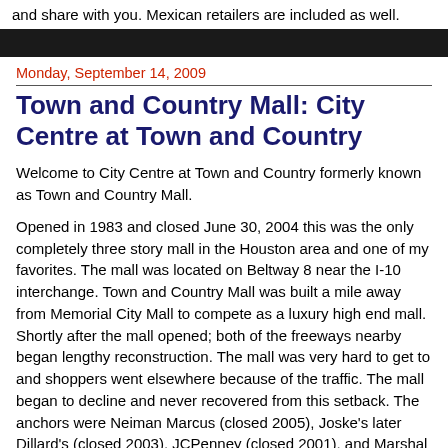and share with you. Mexican retailers are included as well.
Monday, September 14, 2009
Town and Country Mall: City Centre at Town and Country
Welcome to City Centre at Town and Country formerly known as Town and Country Mall.
Opened in 1983 and closed June 30, 2004 this was the only completely three story mall in the Houston area and one of my favorites. The mall was located on Beltway 8 near the I-10 interchange. Town and Country Mall was built a mile away from Memorial City Mall to compete as a luxury high end mall. Shortly after the mall opened; both of the freeways nearby began lengthy reconstruction. The mall was very hard to get to and shoppers went elsewhere because of the traffic. The mall began to decline and never recovered from this setback. The anchors were Neiman Marcus (closed 2005), Joske's later Dillard's (closed 2003), JCPenney (closed 2001), and Marshal Fields later Saks Fifth Avenue